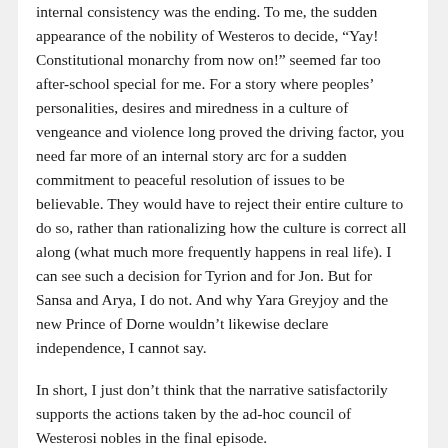internal consistency was the ending. To me, the sudden appearance of the nobility of Westeros to decide, “Yay! Constitutional monarchy from now on!” seemed far too after-school special for me. For a story where peoples’ personalities, desires and miredness in a culture of vengeance and violence long proved the driving factor, you need far more of an internal story arc for a sudden commitment to peaceful resolution of issues to be believable. They would have to reject their entire culture to do so, rather than rationalizing how the culture is correct all along (what much more frequently happens in real life). I can see such a decision for Tyrion and for Jon. But for Sansa and Arya, I do not. And why Yara Greyjoy and the new Prince of Dorne wouldn’t likewise declare independence, I cannot say.
In short, I just don’t think that the narrative satisfactorily supports the actions taken by the ad-hoc council of Westerosi nobles in the final episode.
When a Narrative Fails Your Narrative
Why did putting Bran on the throne fall flat in the final